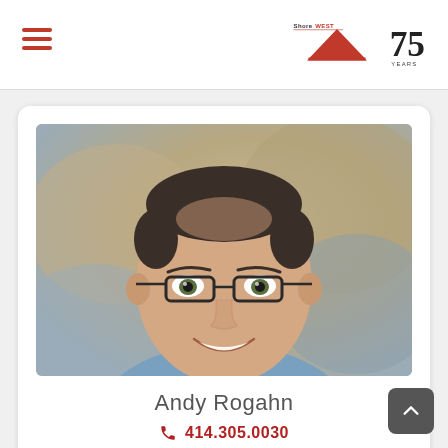ShoreWest 75 Years
[Figure (photo): Headshot photo of Andy Rogahn, a middle-aged man with glasses wearing a blue shirt, smiling, with a blurred outdoor background]
Andy Rogahn
414.305.0030
Email Me